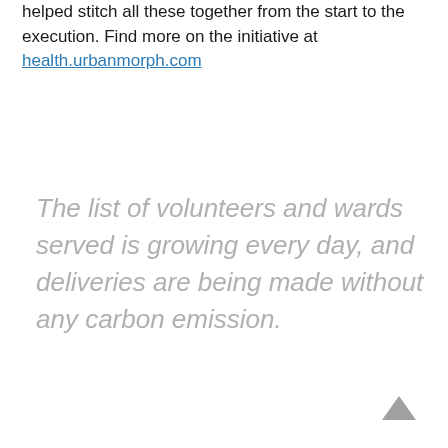helped stitch all these together from the start to the execution. Find more on the initiative at health.urbanmorph.com
The list of volunteers and wards served is growing every day, and deliveries are being made without any carbon emission.